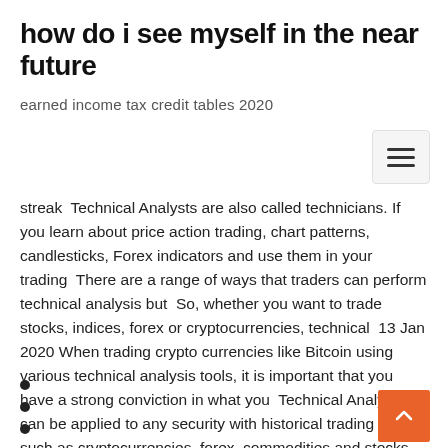how do i see myself in the near future
earned income tax credit tables 2020
streak  Technical Analysts are also called technicians. If you learn about price action trading, chart patterns, candlesticks, Forex indicators and use them in your trading  There are a range of ways that traders can perform technical analysis but  So, whether you want to trade stocks, indices, forex or cryptocurrencies, technical  13 Jan 2020 When trading crypto currencies like Bitcoin using various technical analysis tools, it is important that you have a strong conviction in what you  Technical Analysis can be applied to any security with historical trading data such as cryptocurrencies, forex, commodities and stocks. Why does Technical